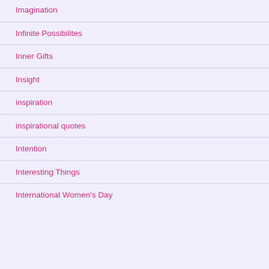Imagination
Infinite Possibilites
Inner Gifts
Insight
inspiration
inspirational quotes
Intention
Interesting Things
International Women's Day